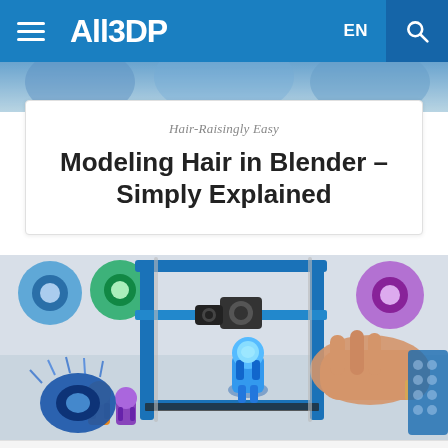ALL3DP
[Figure (photo): Partial cropped image of hair modeling reference at top of page]
Hair-Raisingly Easy
Modeling Hair in Blender – Simply Explained
[Figure (photo): A person removing a small blue 3D printed figurine (astronaut/robot shape) from a blue metal-frame 3D printer bed. Multiple colored filament spools visible on shelves in the background. Other small figurines in orange and purple also on the printer bed.]